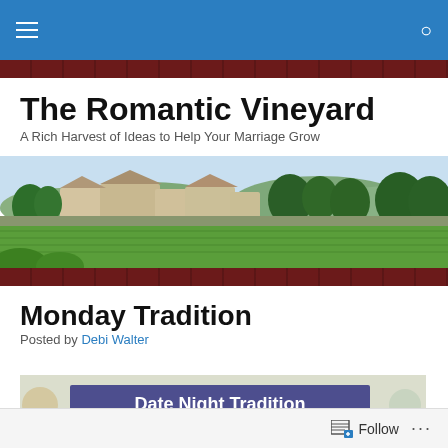Navigation bar with hamburger menu and search icon
The Romantic Vineyard
A Rich Harvest of Ideas to Help Your Marriage Grow
[Figure (photo): Panoramic vineyard landscape with stone buildings, green fields, trees, and rolling hills in the background]
Monday Tradition
Posted by Debi Walter
[Figure (photo): Partial image showing Date Night Tradition text overlay on a food/dining background]
Follow